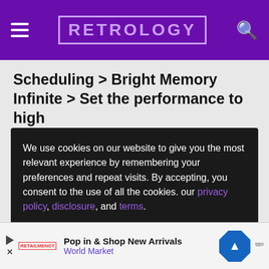RETROLOGY
Scheduling > Bright Memory Infinite > Set the performance to high
We use cookies on our website to give you the most relevant experience by remembering your preferences and repeat visits. By accepting, you consent to the use of all the cookies. our privacy policy, disclosure, and terms.
Some overlays you need to disable are :
St...
Pop in & Shop New Arrivals World Market